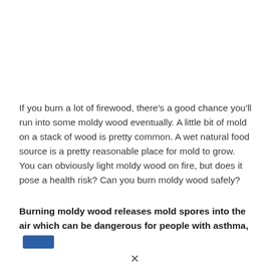If you burn a lot of firewood, there's a good chance you'll run into some moldy wood eventually. A little bit of mold on a stack of wood is pretty common. A wet natural food source is a pretty reasonable place for mold to grow. You can obviously light moldy wood on fire, but does it pose a health risk? Can you burn moldy wood safely?
Burning moldy wood releases mold spores into the air which can be dangerous for people with asthma,